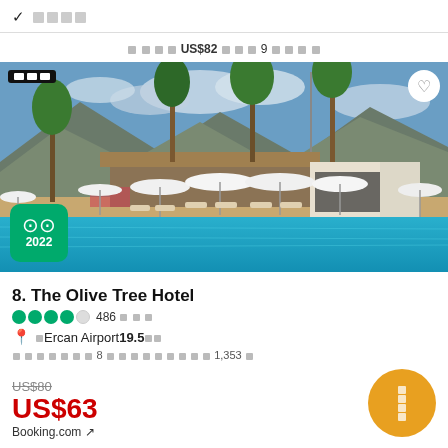✓ □□□□
□□□□ US$82 □□□ 9 □□□
[Figure (photo): Hotel pool area with beach umbrellas, lounge chairs, palm trees and mountains in the background. TripAdvisor 2022 badge in bottom left corner.]
8. The Olive Tree Hotel
●●●●○ 486 □□□
◆ □Ercan Airport 19.5□□
□□□□□□□ 8 □□□□□□□□□□ 1,353 □
US$80
US$63
Booking.com ↗